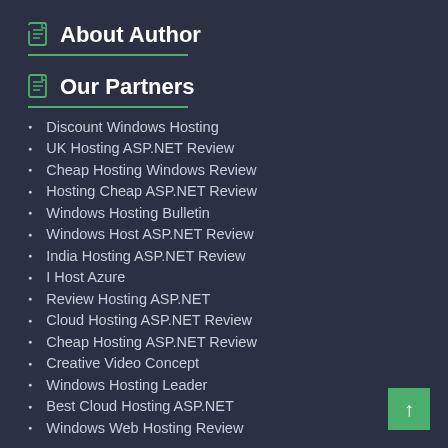About Author
Our Partners
Discount Windows Hosting
UK Hosting ASP.NET Review
Cheap Hosting Windows Review
Hosting Cheap ASP.NET Review
Windows Hosting Bulletin
Windows Host ASP.NET Review
India Hosting ASP.NET Review
I Host Azure
Review Hosting ASP.NET
Cloud Hosting ASP.NET Review
Cheap Hosting ASP.NET Review
Creative Video Concept
Windows Hosting Leader
Best Cloud Hosting ASP.NET
Windows Web Hosting Review